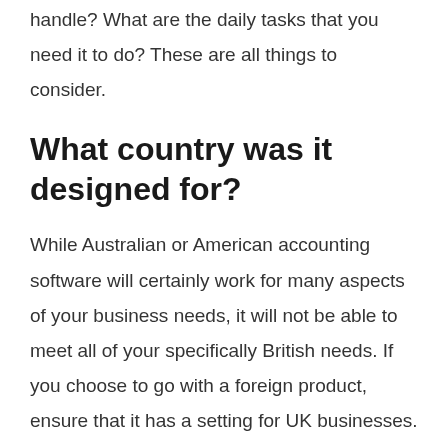handle? What are the daily tasks that you need it to do? These are all things to consider.
What country was it designed for?
While Australian or American accounting software will certainly work for many aspects of your business needs, it will not be able to meet all of your specifically British needs. If you choose to go with a foreign product, ensure that it has a setting for UK businesses.